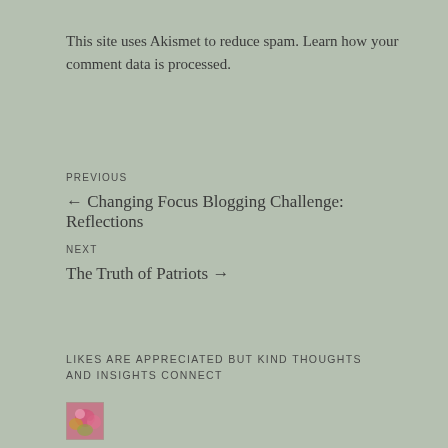This site uses Akismet to reduce spam. Learn how your comment data is processed.
PREVIOUS
← Changing Focus Blogging Challenge: Reflections
NEXT
The Truth of Patriots →
LIKES ARE APPRECIATED BUT KIND THOUGHTS AND INSIGHTS CONNECT
[Figure (photo): Small avatar thumbnail photo showing flowers, pink/magenta tones]